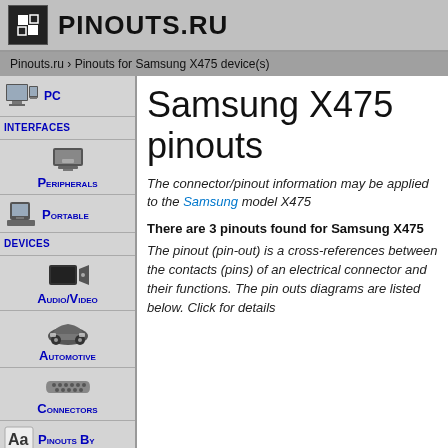PINOUTS.RU
Pinouts.ru › Pinouts for Samsung X475 device(s)
Samsung X475 pinouts
The connector/pinout information may be applied to the Samsung model X475
There are 3 pinouts found for Samsung X475
The pinout (pin-out) is a cross-references between the contacts (pins) of an electrical connector and their functions. The pin outs diagrams are listed below. Click for details
PC INTERFACES
PERIPHERALS
PORTABLE DEVICES
AUDIO/VIDEO
AUTOMOTIVE
CONNECTORS
PINOUTS BY